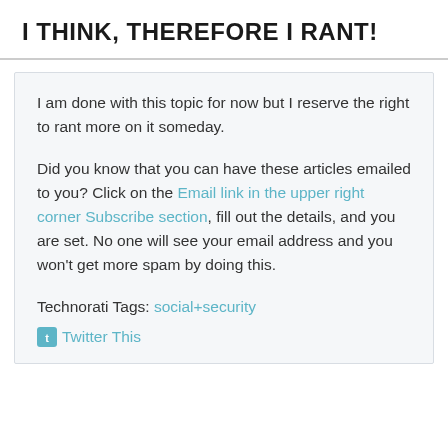I THINK, THEREFORE I RANT!
I am done with this topic for now but I reserve the right to rant more on it someday.
Did you know that you can have these articles emailed to you? Click on the Email link in the upper right corner Subscribe section, fill out the details, and you are set. No one will see your email address and you won't get more spam by doing this.
Technorati Tags: social+security
Twitter This